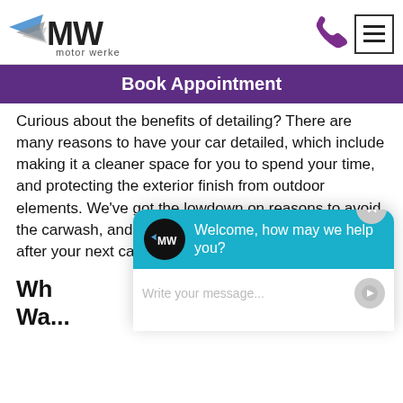[Figure (logo): Motor Werke logo with MW text and blue/grey wing graphic, subtitle 'motor werke']
Book Appointment
Curious about the benefits of detailing? There are many reasons to have your car detailed, which include making it a cleaner space for you to spend your time, and protecting the exterior finish from outdoor elements. We've got the lowdown on reasons to avoid the carwash, and ways to help care for your vehicle after your next car detailing appointment.
Wh... Wa...
[Figure (screenshot): Chat widget overlay with teal header showing Motor Werke logo and text 'Welcome, how may we help you?' with input field 'Write your message...' and a close X button]